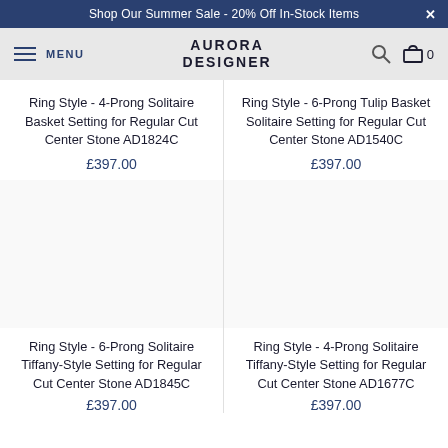Shop Our Summer Sale - 20% Off In-Stock Items
AURORA DESIGNER
Ring Style - 4-Prong Solitaire Basket Setting for Regular Cut Center Stone AD1824C
£397.00
Ring Style - 6-Prong Tulip Basket Solitaire Setting for Regular Cut Center Stone AD1540C
£397.00
Ring Style - 6-Prong Solitaire Tiffany-Style Setting for Regular Cut Center Stone AD1845C
£397.00
Ring Style - 4-Prong Solitaire Tiffany-Style Setting for Regular Cut Center Stone AD1677C
£397.00